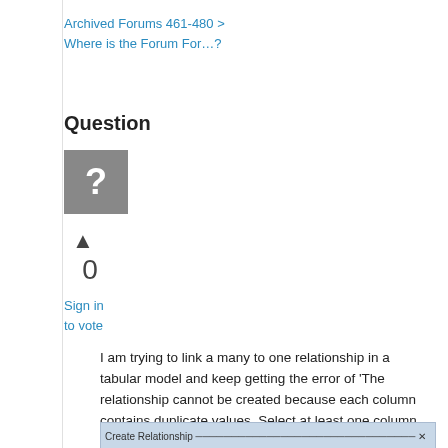Archived Forums 461-480 > Where is the Forum For…?
Question
[Figure (other): Gray question mark avatar icon]
0
Sign in
to vote
I am trying to link a many to one relationship in a tabular model and keep getting the error of 'The relationship cannot be created because each column contains duplicate values. Select at least one column that contains only unique values.'  The fields have unique values.  We also tried the related function to and that didn't work.  Here is a screen shot of my error.
[Figure (screenshot): Partial screenshot of error dialog at bottom of page]